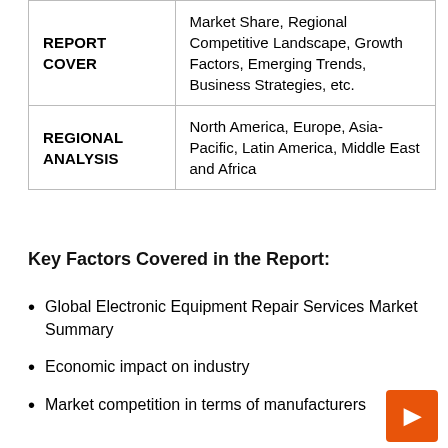|  |  |
| --- | --- |
| REPORT COVER | Market Share, Regional Competitive Landscape, Growth Factors, Emerging Trends, Business Strategies, etc. |
| REGIONAL ANALYSIS | North America, Europe, Asia-Pacific, Latin America, Middle East and Africa |
Key Factors Covered in the Report:
Global Electronic Equipment Repair Services Market Summary
Economic impact on industry
Market competition in terms of manufacturers